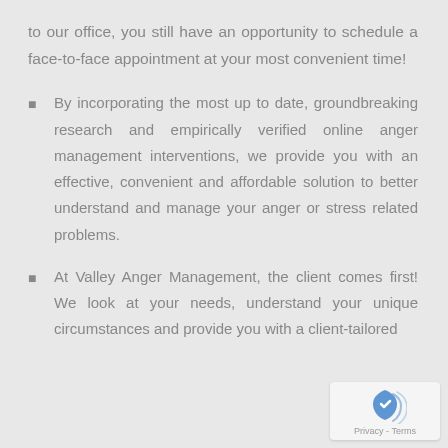to our office, you still have an opportunity to schedule a face-to-face appointment at your most convenient time!
By incorporating the most up to date, groundbreaking research and empirically verified online anger management interventions, we provide you with an effective, convenient and affordable solution to better understand and manage your anger or stress related problems.
At Valley Anger Management, the client comes first! We look at your needs, understand your unique circumstances and provide you with a client-tailored